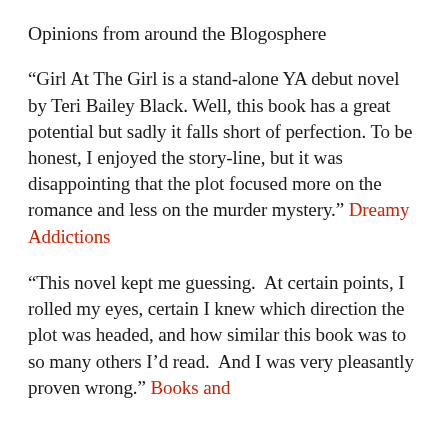Opinions from around the Blogosphere
“Girl At The Girl is a stand-alone YA debut novel by Teri Bailey Black. Well, this book has a great potential but sadly it falls short of perfection. To be honest, I enjoyed the story-line, but it was disappointing that the plot focused more on the romance and less on the murder mystery.” Dreamy Addictions
“This novel kept me guessing. At certain points, I rolled my eyes, certain I knew which direction the plot was headed, and how similar this book was to so many others I’d read. And I was very pleasantly proven wrong.” Books and